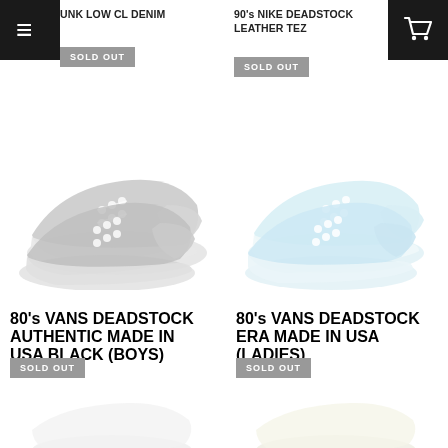UNK LOW CL DENIM
SOLD OUT
90's NIKE DEADSTOCK LEATHER TEZ
SOLD OUT
[Figure (photo): Black/dark Vans Authentic sneakers, deadstock, made in USA, boys size]
[Figure (photo): Light blue Vans Era sneakers, deadstock, made in USA, ladies size]
80's VANS DEADSTOCK AUTHENTIC MADE IN USA BLACK (BOYS)
SOLD OUT
80's VANS DEADSTOCK ERA MADE IN USA (LADIES)
SOLD OUT
[Figure (photo): Partial view of white sneakers at bottom left]
[Figure (photo): Partial view of light-colored sneakers at bottom right]